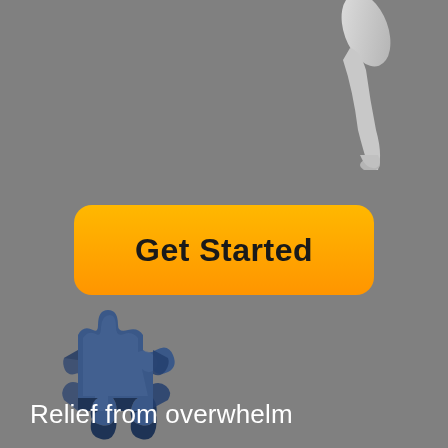[Figure (illustration): Partial view of a white/light gray robotic or cartoon arm/hand figure cropped at the top right corner of the page]
[Figure (illustration): 3D rendered dark navy blue puzzle piece lying flat, viewed from a slight angle, located in the lower left area]
Get Started
Relief from overwhelm